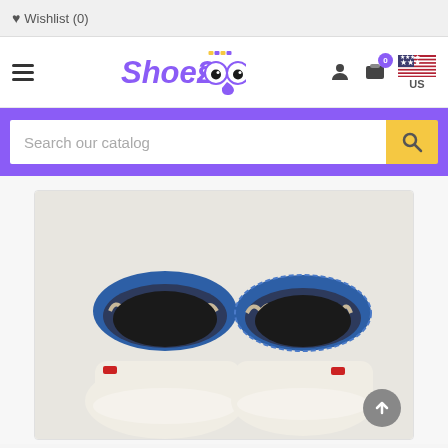Wishlist (0)
[Figure (logo): ShoesZoo logo with cartoon eyes and purple text]
[Figure (screenshot): Search bar with text 'Search our catalog' and yellow search button]
[Figure (photo): Two baby shoes viewed from top/back, white leather with blue trim, showing interior]